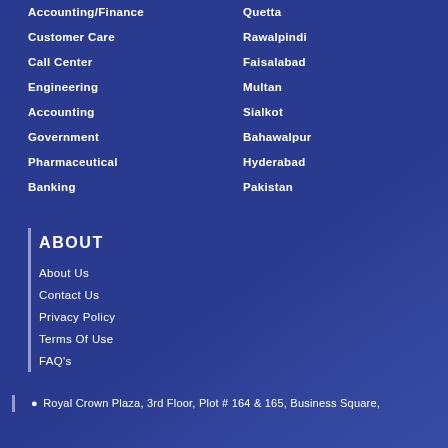Accounting/Finance
Customer Care
Call Center
Engineering
Accounting
Government
Pharmaceutical
Banking
Quetta
Rawalpindi
Faisalabad
Multan
Sialkot
Bahawalpur
Hyderabad
Pakistan
ABOUT
About Us
Contact Us
Privacy Policy
Terms Of Use
FAQ's
Royal Crown Plaza, 3rd Floor, Plot # 164 & 165, Business Square,